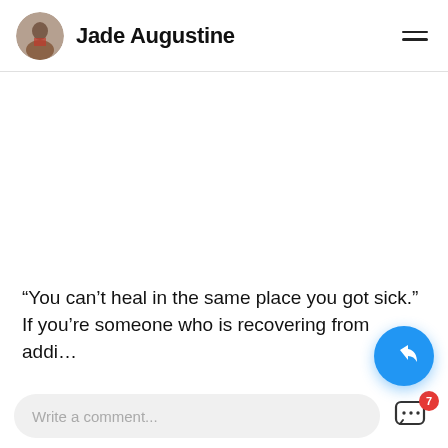Jade Augustine
[Figure (photo): Large content area (article or video) — mostly blank/white]
“You can’t heal in the same place you got sick.”. If you’re someone who is recovering from addic…
Write a comment...